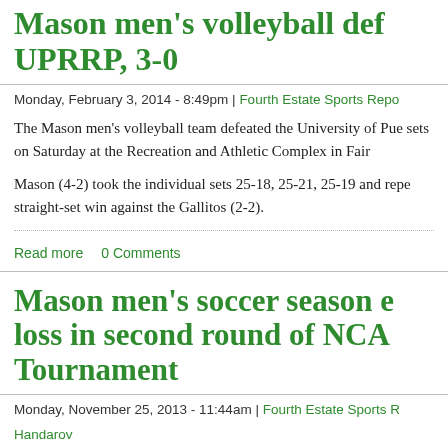Mason men's volleyball defeats UPRRP, 3-0
Monday, February 3, 2014 - 8:49pm | Fourth Estate Sports Repo
The Mason men's volleyball team defeated the University of Pue sets on Saturday at the Recreation and Athletic Complex in Fair
Mason (4-2) took the individual sets 25-18, 25-21, 25-19 and repe straight-set win against the Gallitos (2-2).
Read more   0 Comments
Mason men's soccer season ends with loss in second round of NCAA Tournament
Monday, November 25, 2013 - 11:44am | Fourth Estate Sports R
Handarov